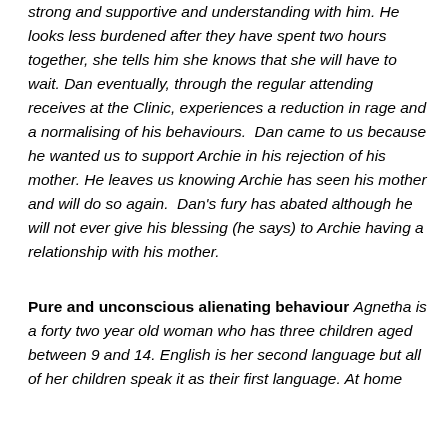strong and supportive and understanding with him. He looks less burdened after they have spent two hours together, she tells him she knows that she will have to wait. Dan eventually, through the regular attending receives at the Clinic, experiences a reduction in rage and a normalising of his behaviours. Dan came to us because he wanted us to support Archie in his rejection of his mother. He leaves us knowing Archie has seen his mother and will do so again. Dan's fury has abated although he will not ever give his blessing (he says) to Archie having a relationship with his mother.
Pure and unconscious alienating behaviour Agnetha is a forty two year old woman who has three children aged between 9 and 14. English is her second language but all of her children speak it as their first language. At home